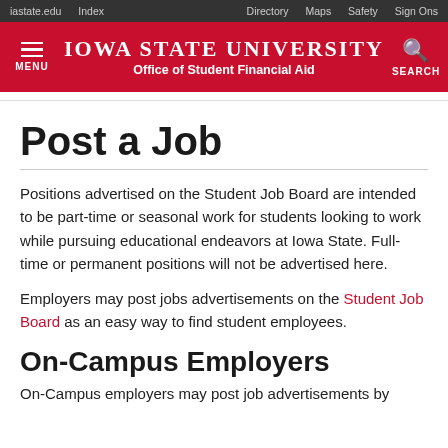iastate.edu  Index  Directory  Maps  Safety  Sign Ons
IOWA STATE UNIVERSITY Office of Student Financial Aid
Post a Job
Positions advertised on the Student Job Board are intended to be part-time or seasonal work for students looking to work while pursuing educational endeavors at Iowa State. Full-time or permanent positions will not be advertised here.
Employers may post jobs advertisements on the Student Job Board as an easy way to find student employees.
On-Campus Employers
On-Campus employers may post job advertisements by